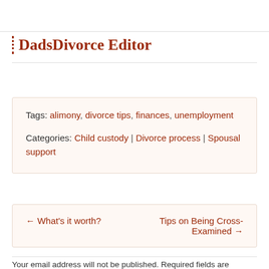DadsDivorce Editor
Tags: alimony, divorce tips, finances, unemployment
Categories: Child custody | Divorce process | Spousal support
← What's it worth?
Tips on Being Cross-Examined →
Your email address will not be published. Required fields are